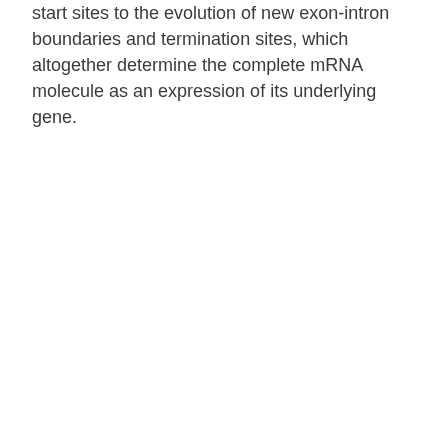start sites to the evolution of new exon-intron boundaries and termination sites, which altogether determine the complete mRNA molecule as an expression of its underlying gene.